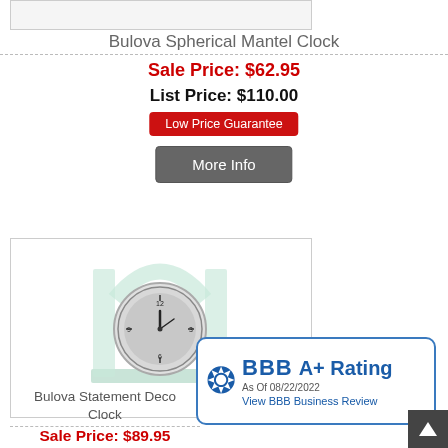[Figure (photo): Top portion of product image placeholder (Bulova Spherical Mantel Clock image, mostly cropped)]
Bulova Spherical Mantel Clock
Sale Price: $62.95
List Price: $110.00
Low Price Guarantee
More Info
[Figure (photo): Bulova Statement Deco Clock product image — glass arch-shaped mantel clock with silver clock face and numerals]
[Figure (logo): BBB A+ Rating badge — As Of 08/22/2022 — View BBB Business Review]
Bulova Statement Deco Clock
Sale Price: $89.95